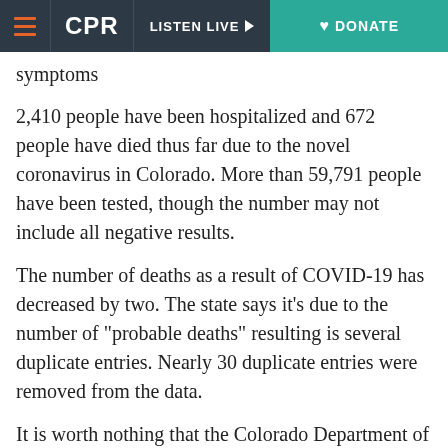CPR | LISTEN LIVE | DONATE
symptoms
2,410 people have been hospitalized and 672 people have died thus far due to the novel coronavirus in Colorado. More than 59,791 people have been tested, though the number may not include all negative results.
The number of deaths as a result of COVID-19 has decreased by two. The state says it's due to the number of "probable deaths" resulting is several duplicate entries. Nearly 30 duplicate entries were removed from the data.
It is worth nothing that the Colorado Department of Public Health and Environment has changed the